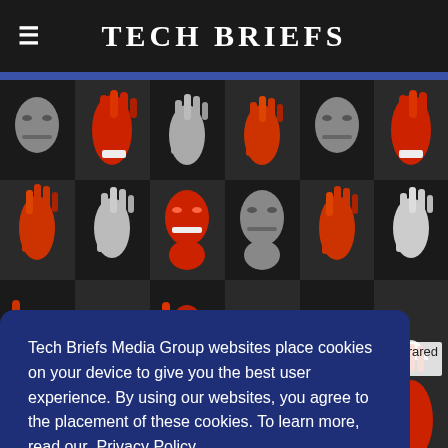Tech Briefs
[Figure (photo): Grid of infrared/thermal images showing faces and open hands alternating in a checkerboard pattern, black and white and red color thermal imagery]
Tech Briefs Media Group websites place cookies on your device to give you the best user experience. By using our websites, you agree to the placement of these cookies. To learn more, read our Privacy Policy.
Accept & Continue